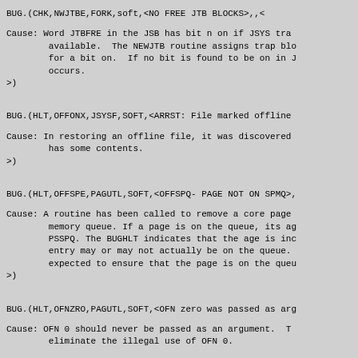BUG.(CHK,NWJTBE,FORK,soft,<NO FREE JTB BLOCKS>,,<
Cause:  Word JTBFRE in the JSB has bit n on if JSYS tra
        available.  The NEWJTB routine assigns trap blo
        for a bit on.  If no bit is found to be on in J
        occurs.
>)
BUG.(HLT,OFFONX,JSYSF,SOFT,<ARRST: File marked offline
Cause:  In restoring an offline file, it was discovered
        has some contents.
>)
BUG.(HLT,OFFSPE,PAGUTL,SOFT,<OFFSPQ- PAGE NOT ON SPMQ>,
Cause:  A routine has been called to remove a core page
        memory queue. If a page is on the queue, its ag
        PSSPQ. The BUGHLT indicates that the age is inc
        entry may or may not actually be on the queue.
        expected to ensure that the page is on the queu
>)
BUG.(HLT,OFNZRO,PAGUTL,SOFT,<OFN zero was passed as arg
Cause:  OFN 0 should never be passed as an argument.  T
        eliminate the illegal use of OFN 0.